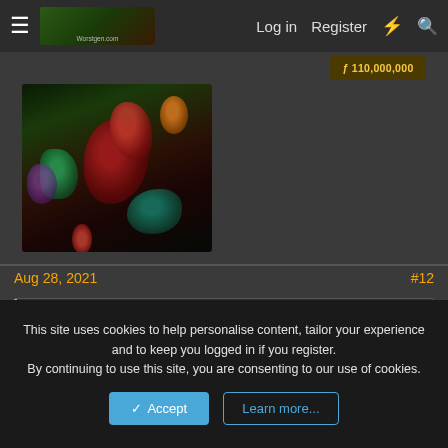≡  [logo]  Log in  Register  ⚡  🔍
ƒ 110,000,000
[Figure (illustration): Dark fantasy floral avatar artwork with red flowers and green foliage on dark background]
Aug 28, 2021   #12
Haoshoku said: ➕
Luffy probably has another G4 form up his sleeve that will now be best utilized in conjunction with his newfound Advanced CoC. Probably a power based offensive first form in contrast to the speed based Snakeman, defensive based Tankman and relatively balanced out Boundman. And going all power makes the most sense right now, since Luffy hasn't been able to really damage Kaido like that.
I doubt that any Gear 4 Form will be enough to take down
This site uses cookies to help personalise content, tailor your experience and to keep you logged in if you register.
By continuing to use this site, you are consenting to our use of cookies.
Accept   Learn more...